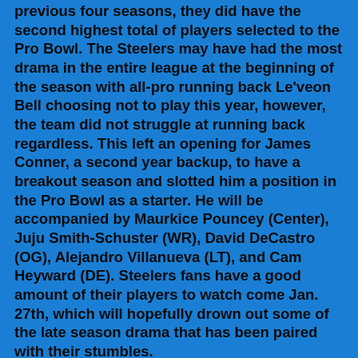previous four seasons, they did have the second highest total of players selected to the Pro Bowl. The Steelers may have had the most drama in the entire league at the beginning of the season with all-pro running back Le'veon Bell choosing not to play this year, however, the team did not struggle at running back regardless. This left an opening for James Conner, a second year backup, to have a breakout season and slotted him a position in the Pro Bowl as a starter. He will be accompanied by Maurkice Pouncey (Center), Juju Smith-Schuster (WR), David DeCastro (OG), Alejandro Villanueva (LT), and Cam Heyward (DE). Steelers fans have a good amount of their players to watch come Jan. 27th, which will hopefully drown out some of the late season drama that has been paired with their stumbles.
Losers: Oakland Raiders, Buffalo Bills, and Tampa Bay Buccaneers: Where to begin with these teams? To start, none of these teams had a good season. For the Raiders,